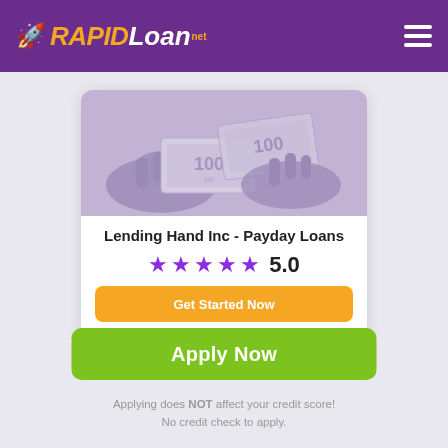[Figure (logo): RapidLoan.net logo with rocket icon, purple background header with hamburger menu]
[Figure (photo): Hands holding and exchanging banknotes, purple-tinted grayscale image]
Lending Hand Inc - Payday Loans
★★★★★ 5.0
Get Started Now
Apply Now
Applying does NOT affect your credit score! No credit check to apply.